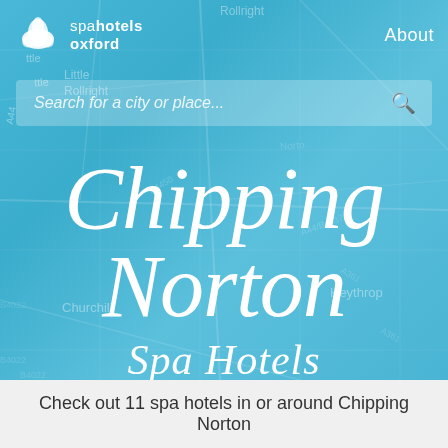[Figure (screenshot): Spa Hotels Oxford website screenshot showing a map background of the Chipping Norton area in teal/blue tones, with a navigation bar containing the Spa Hotels Oxford logo, an About link, and a search bar reading 'Search for a city or place...'. The main content shows 'Chipping Norton Spa Hotels' in large italic serif white text.]
Chipping Norton Spa Hotels
Check out 11 spa hotels in or around Chipping Norton